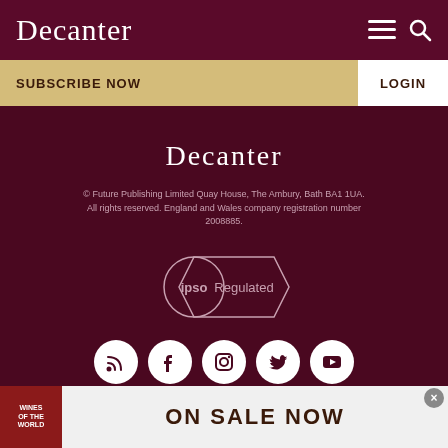Decanter
SUBSCRIBE NOW
LOGIN
[Figure (logo): Decanter logo in white on dark maroon background]
© Future Publishing Limited Quay House, The Ambury, Bath BA1 1UA. All rights reserved. England and Wales company registration number 2008885.
[Figure (logo): IPSO Regulated badge — circular IPSO logo with 'Regulated' ribbon]
[Figure (infographic): Row of five social media icon circles: RSS, Facebook, Instagram, Twitter, YouTube]
[Figure (infographic): Ad banner: Wines of the World book cover image on left, 'ON SALE NOW' text on right]